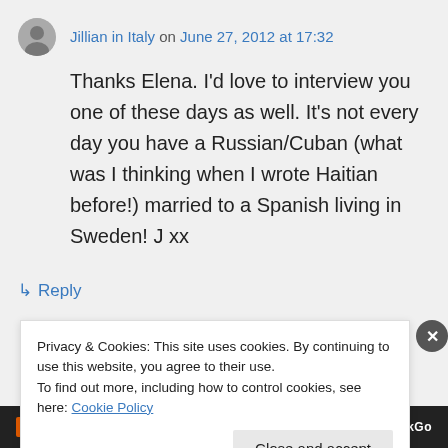Jillian in Italy on June 27, 2012 at 17:32
Thanks Elena. I'd love to interview you one of these days as well. It's not every day you have a Russian/Cuban (what was I thinking when I wrote Haitian before!) married to a Spanish living in Sweden! J xx
↳ Reply
Privacy & Cookies: This site uses cookies. By continuing to use this website, you agree to their use.
To find out more, including how to control cookies, see here: Cookie Policy
Close and accept